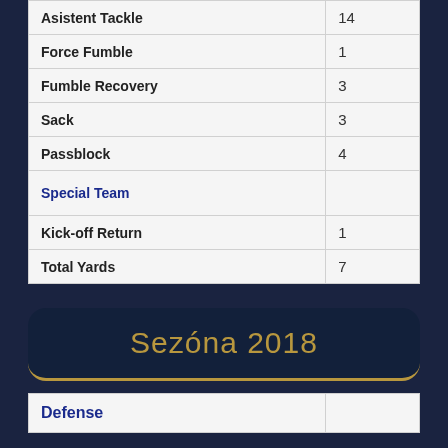|  |  |
| --- | --- |
| Asistent Tackle | 14 |
| Force Fumble | 1 |
| Fumble Recovery | 3 |
| Sack | 3 |
| Passblock | 4 |
| Special Team |  |
| Kick-off Return | 1 |
| Total Yards | 7 |
Sezóna 2018
| Defense |  |
| --- | --- |